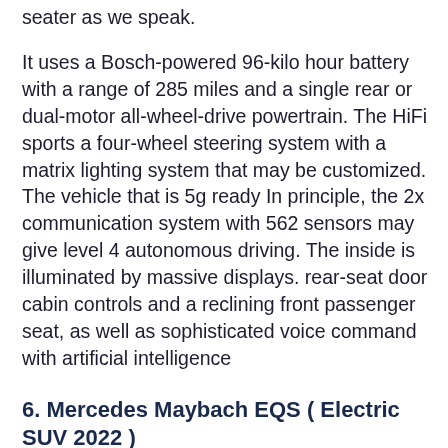seater as we speak.
It uses a Bosch-powered 96-kilo hour battery with a range of 285 miles and a single rear or dual-motor all-wheel-drive powertrain. The HiFi sports a four-wheel steering system with a matrix lighting system that may be customized. The vehicle that is 5g ready In principle, the 2x communication system with 562 sensors may give level 4 autonomous driving. The inside is illuminated by massive displays. rear-seat door cabin controls and a reclining front passenger seat, as well as sophisticated voice command with artificial intelligence
6. Mercedes Maybach EQS ( Electric SUV 2022 )